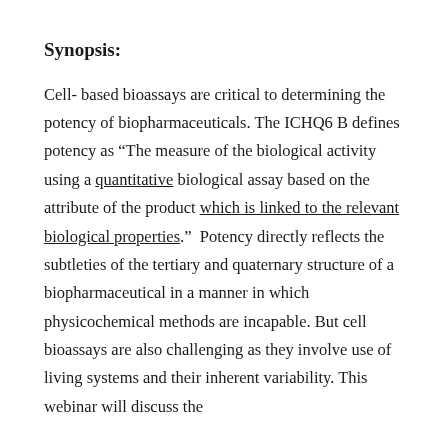Synopsis:
Cell- based bioassays are critical to determining the potency of biopharmaceuticals. The ICHQ6 B defines potency as “The measure of the biological activity using a quantitative biological assay based on the attribute of the product which is linked to the relevant biological properties.”  Potency directly reflects the subtleties of the tertiary and quaternary structure of a biopharmaceutical in a manner in which physicochemical methods are incapable. But cell bioassays are also challenging as they involve use of  living systems and their inherent variability. This webinar will discuss the
Types of Bioassays